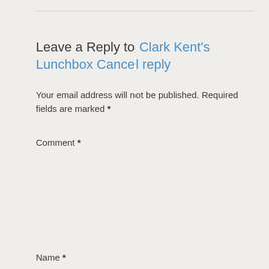Leave a Reply to Clark Kent's Lunchbox Cancel reply
Your email address will not be published. Required fields are marked *
Comment *
[Figure (other): Comment textarea input box, empty, with resize handle at bottom right]
Name *